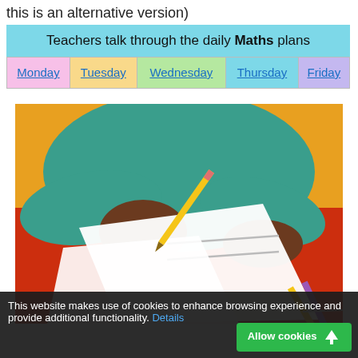this is an alternative version)
| Teachers talk through the daily Maths plans |
| --- |
| Monday | Tuesday | Wednesday | Thursday | Friday |
[Figure (illustration): Illustration of a student writing on paper with pencils on a desk with red and yellow background]
This website makes use of cookies to enhance browsing experience and provide additional functionality. Details
Allow cookies